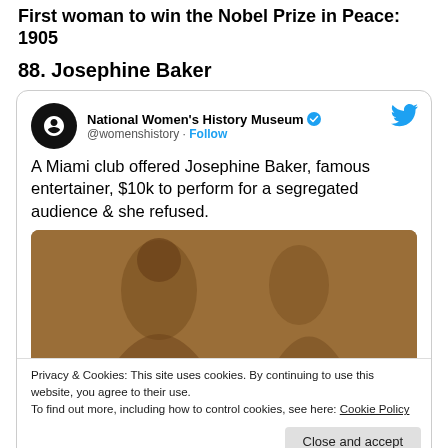First woman to win the Nobel Prize in Peace: 1905
88. Josephine Baker
[Figure (screenshot): Embedded tweet from National Women's History Museum (@womenshistory) with a Follow button and Twitter bird icon. Tweet text reads: 'A Miami club offered Josephine Baker, famous entertainer, $10k to perform for a segregated audience & she refused.' Below the tweet text is a sepia-toned photograph of Josephine Baker performing.]
Privacy & Cookies: This site uses cookies. By continuing to use this website, you agree to their use.
To find out more, including how to control cookies, see here: Cookie Policy
[Figure (photo): Sepia-toned photograph at the bottom of the page, cropped, showing a person.]